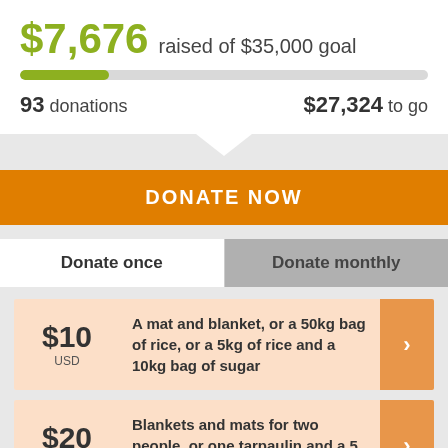$7,676 raised of $35,000 goal
[Figure (infographic): Progress bar showing approximately 22% filled in green/olive color on a light grey background track]
93 donations   $27,324 to go
DONATE NOW
Donate once
Donate monthly
$10 USD  A mat and blanket, or a 50kg bag of rice, or a 5kg of rice and a 10kg bag of sugar
$20 USD  Blankets and mats for two people, or one tarpaulin and a 5 kg bag of rice